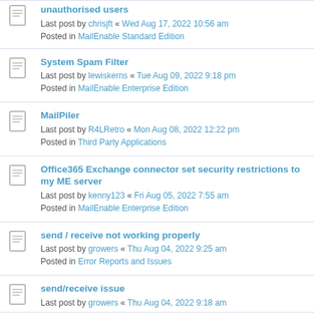unauthorised users
Last post by chrisjft « Wed Aug 17, 2022 10:56 am
Posted in MailEnable Standard Edition
System Spam Filter
Last post by lewiskerns « Tue Aug 09, 2022 9:18 pm
Posted in MailEnable Enterprise Edition
MailPiler
Last post by R4LRetro « Mon Aug 08, 2022 12:22 pm
Posted in Third Party Applications
Office365 Exchange connector set security restrictions to my ME server
Last post by kenny123 « Fri Aug 05, 2022 7:55 am
Posted in MailEnable Enterprise Edition
send / receive not working properly
Last post by growers « Thu Aug 04, 2022 9:25 am
Posted in Error Reports and Issues
send/receive issue
Last post by growers « Thu Aug 04, 2022 9:18 am